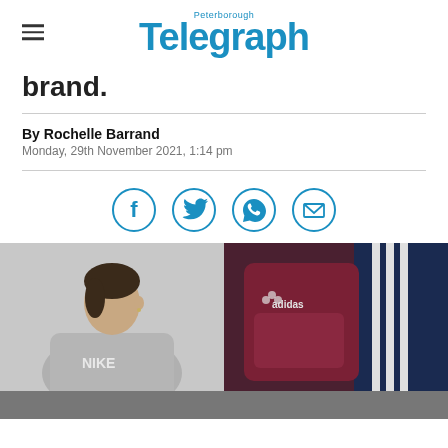Peterborough Telegraph
brand.
By Rochelle Barrand
Monday, 29th November 2021, 1:14 pm
[Figure (infographic): Social sharing icons: Facebook, Twitter, WhatsApp, Email — blue circle outlines]
[Figure (photo): Left: woman wearing a grey Nike sweatshirt. Right: dark red/maroon Adidas backpack with blue and white stripes.]